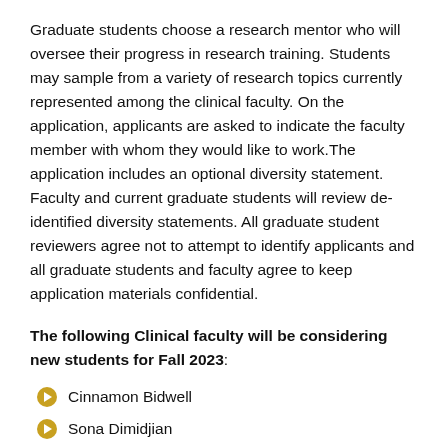Graduate students choose a research mentor who will oversee their progress in research training. Students may sample from a variety of research topics currently represented among the clinical faculty. On the application, applicants are asked to indicate the faculty member with whom they would like to work.The application includes an optional diversity statement. Faculty and current graduate students will review de-identified diversity statements. All graduate student reviewers agree not to attempt to identify applicants and all graduate students and faculty agree to keep application materials confidential.
The following Clinical faculty will be considering new students for Fall 2023:
Cinnamon Bidwell
Sona Dimidjian
Andrew Gretzinger